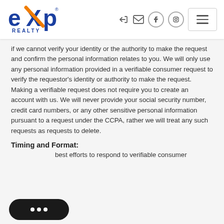eXp Realty
if we cannot verify your identity or the authority to make the request and confirm the personal information relates to you. We will only use any personal information provided in a verifiable consumer request to verify the requestor's identity or authority to make the request. Making a verifiable request does not require you to create an account with us. We will never provide your social security number, credit card numbers, or any other sensitive personal information pursuant to a request under the CCPA, rather we will treat any such requests as requests to delete.
Timing and Format:
best efforts to respond to verifiable consumer